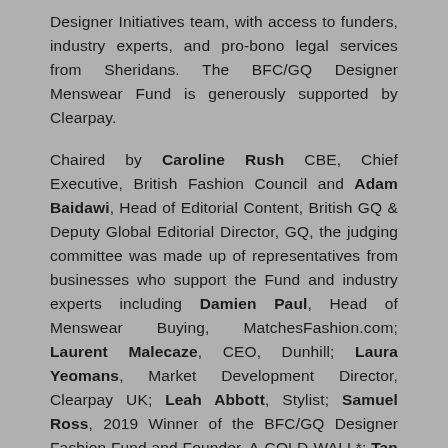Designer Initiatives team, with access to funders, industry experts, and pro-bono legal services from Sheridans. The BFC/GQ Designer Menswear Fund is generously supported by Clearpay.
Chaired by Caroline Rush CBE, Chief Executive, British Fashion Council and Adam Baidawi, Head of Editorial Content, British GQ & Deputy Global Editorial Director, GQ, the judging committee was made up of representatives from businesses who support the Fund and industry experts including Damien Paul, Head of Menswear Buying, MatchesFashion.com; Laurent Malecaze, CEO, Dunhill; Laura Yeomans, Market Development Director, Clearpay UK; Leah Abbott, Stylist; Samuel Ross, 2019 Winner of the BFC/GQ Designer Fashion Fund and Founder, A-COLD-WALL*; Tan France, Fashion Designer, TV Personality and Author; Teo van den Broeke, Style & Grooming Director, British GQ;